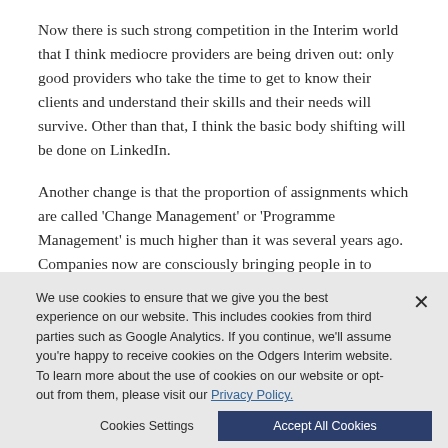Now there is such strong competition in the Interim world that I think mediocre providers are being driven out: only good providers who take the time to get to know their clients and understand their skills and their needs will survive. Other than that, I think the basic body shifting will be done on LinkedIn.
Another change is that the proportion of assignments which are called 'Change Management' or 'Programme Management' is much higher than it was several years ago. Companies now are consciously bringing people in to manage a particular phase of change within their companies, which is something that you just didn't see in the past other than in IT.
We use cookies to ensure that we give you the best experience on our website. This includes cookies from third parties such as Google Analytics. If you continue, we'll assume you're happy to receive cookies on the Odgers Interim website. To learn more about the use of cookies on our website or opt-out from them, please visit our Privacy Policy.
Cookies Settings
Accept All Cookies